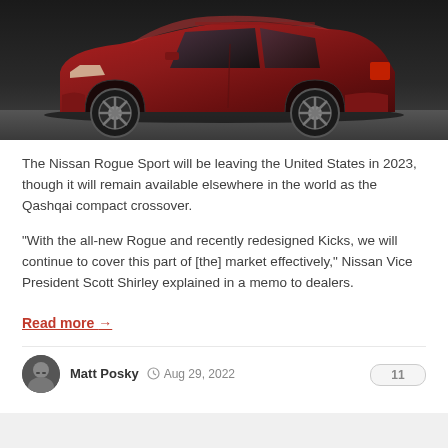[Figure (photo): Red Nissan Rogue Sport / Qashqai crossover SUV photographed from the side in a dark indoor setting]
The Nissan Rogue Sport will be leaving the United States in 2023, though it will remain available elsewhere in the world as the Qashqai compact crossover.
"With the all-new Rogue and recently redesigned Kicks, we will continue to cover this part of [the] market effectively," Nissan Vice President Scott Shirley explained in a memo to dealers.
Read more →
Matt Posky  Aug 29, 2022  11